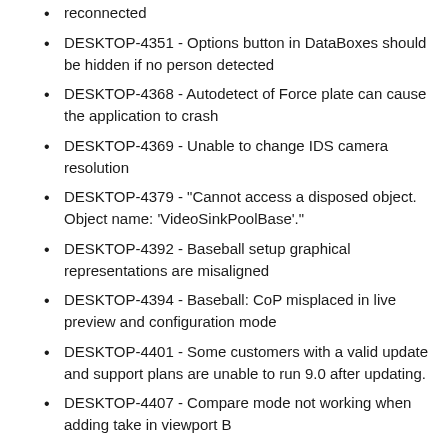reconnected
DESKTOP-4351 - Options button in DataBoxes should be hidden if no person detected
DESKTOP-4368 - Autodetect of Force plate can cause the application to crash
DESKTOP-4369 - Unable to change IDS camera resolution
DESKTOP-4379 - "Cannot access a disposed object. Object name: 'VideoSinkPoolBase'."
DESKTOP-4392 - Baseball setup graphical representations are misaligned
DESKTOP-4394 - Baseball: CoP misplaced in live preview and configuration mode
DESKTOP-4401 - Some customers with a valid update and support plans are unable to run 9.0 after updating.
DESKTOP-4407 - Compare mode not working when adding take in viewport B
DESKTOP-4411 - Unplugging 1 FP while on Main